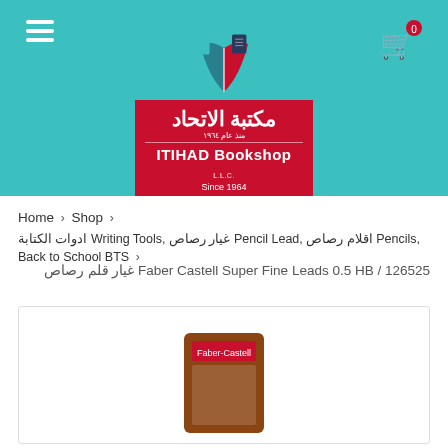ITIHAD Bookshop - مكتبة الاتحاد - Since 1964
Home > Shop >
ادوات الكتابة Writing Tools, غيار رصاص Pencil Lead, اقلام رصاص Pencils, Back to School BTS >
Faber Castell Super Fine Leads 0.5 HB / 126525 غيار قلم رصاص
[Figure (photo): Product image of Faber Castell Super Fine Leads pencil lead refills packaging, partially visible at the bottom of the image area]